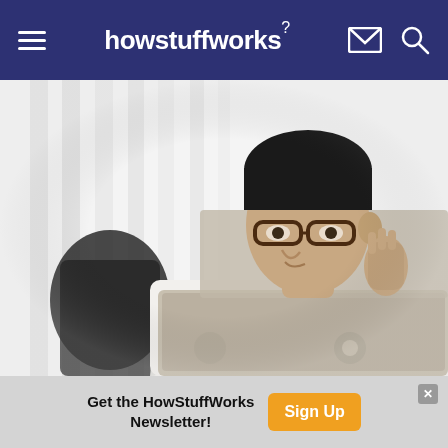howstuffworks
[Figure (photo): A man with glasses wearing a white shirt, sitting at a desk with a laptop open, appearing to be thinking or listening, against a white venetian blind background]
Get the HowStuffWorks Newsletter! Sign Up